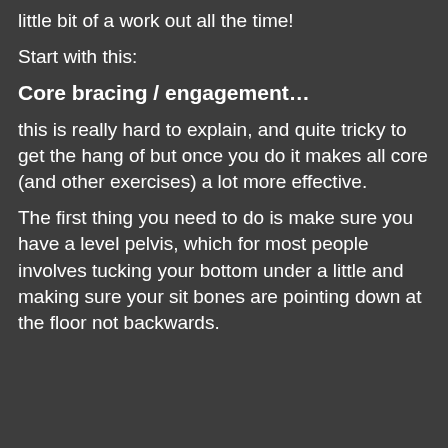little bit of a work out all the time!
Start with this:
Core bracing / engagement…
this is really hard to explain, and quite tricky to get the hang of but once you do it makes all core (and other exercises) a lot more effective.
The first thing you need to do is make sure you have a level pelvis, which for most people involves tucking your bottom under a little and making sure your sit bones are pointing down at the floor not backwards.